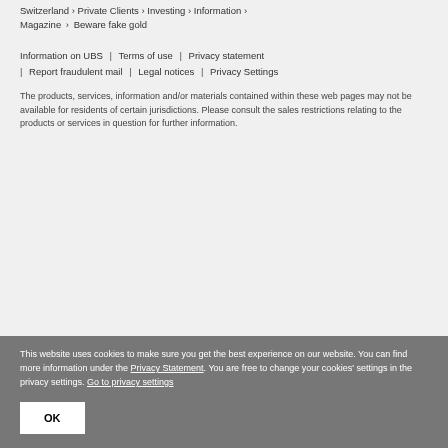Switzerland > Private Clients > Investing > Information >
Magazine > Beware fake gold
Information on UBS | Terms of use | Privacy statement | Report fraudulent mail | Legal notices | Privacy Settings
The products, services, information and/or materials contained within these web pages may not be available for residents of certain jurisdictions. Please consult the sales restrictions relating to the products or services in question for further information.
This website uses cookies to make sure you get the best experience on our website. You can find more information under the Privacy Statement. You are free to change your cookies' settings in the privacy settings. Go to privacy settings
OK